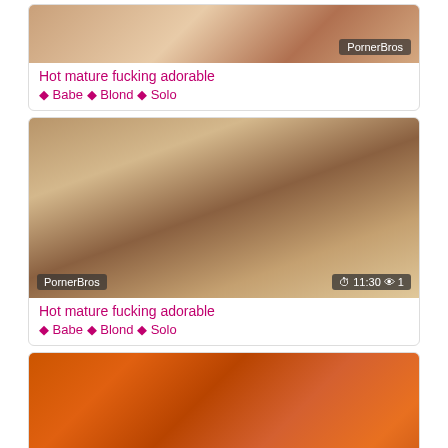[Figure (screenshot): Video thumbnail card 1: mature content image with PornerBros watermark]
Hot mature fucking adorable
♦ Babe ♦ Blond ♦ Solo
[Figure (screenshot): Video thumbnail card 2: two women kissing, duration 11:30, views 1, PornerBros watermark]
Hot mature fucking adorable
♦ Babe ♦ Blond ♦ Solo
[Figure (screenshot): Video thumbnail card 3: woman on orange background, duration 12:17, views 1]